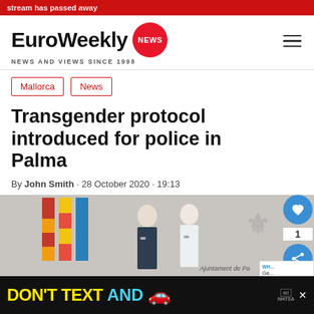stream has passed away
[Figure (logo): EuroWeekly NEWS logo with red circle badge and tagline NEWS AND VIEWS SINCE 1998]
Mallorca
News
Transgender protocol introduced for police in Palma
By John Smith · 28 October 2020 · 19:13
[Figure (photo): Two masked individuals standing in front of regional flags with Ajuntament de Palma crest backdrop]
DON'T TEXT AND [car emoji ad] NHTSA